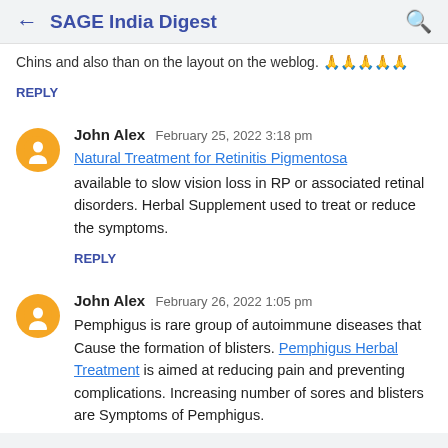← SAGE India Digest 🔍
Chins and also than on the layout on the weblog. 🙏🙏🙏🙏🙏
REPLY
John Alex   February 25, 2022 3:18 pm
Natural Treatment for Retinitis Pigmentosa available to slow vision loss in RP or associated retinal disorders. Herbal Supplement used to treat or reduce the symptoms.
REPLY
John Alex   February 26, 2022 1:05 pm
Pemphigus is rare group of autoimmune diseases that Cause the formation of blisters. Pemphigus Herbal Treatment is aimed at reducing pain and preventing complications. Increasing number of sores and blisters are Symptoms of Pemphigus.